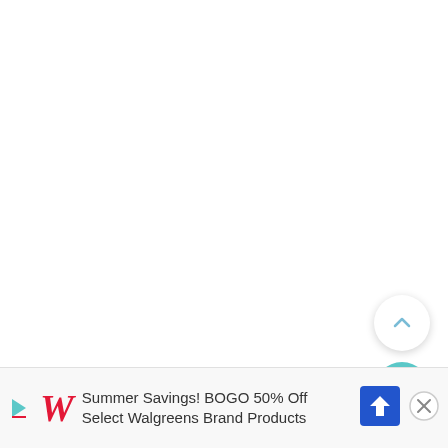[Figure (screenshot): White blank main content area of a mobile web page]
[Figure (other): Scroll-to-top circular white button with upward chevron arrow]
[Figure (other): Search circular teal button with magnifying glass icon]
Summer Savings! BOGO 50% Off Select Walgreens Brand Products